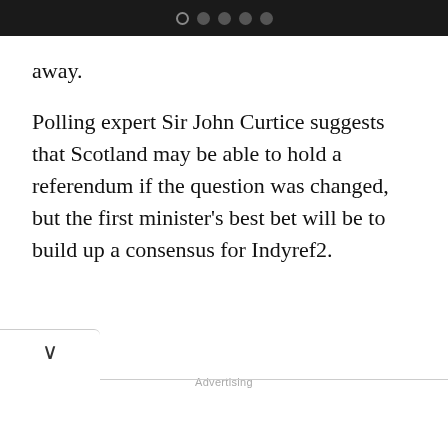● ● ● ●
away.
Polling expert Sir John Curtice suggests that Scotland may be able to hold a referendum if the question was changed, but the first minister's best bet will be to build up a consensus for Indyref2.
Advertising